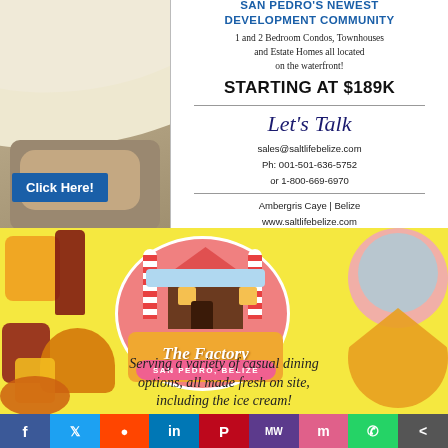[Figure (illustration): Real estate advertisement for Salt Life Belize. Left side shows a woman in a white sun hat. Right side has text content with contact details. Features 'Click Here!' blue button.]
SAN PEDRO'S NEWEST DEVELOPMENT COMMUNITY
1 and 2 Bedroom Condos, Townhouses and Estate Homes all located on the waterfront!
STARTING AT $189K
Let's Talk
sales@saltlifebelize.com
Ph: 001-501-636-5752
or 1-800-669-6970
Ambergris Caye | Belize
www.saltlifebelize.com
[Figure (illustration): The Factory restaurant advertisement on yellow background. Features logo with pink circular design, candy cane pillars, house icon. Surrounded by food images: beer, wine, burgers, pizza, ice cream, soda, pasta. Text reads: 'Casual Eats • Cold Drinks • Sweet Treats', 'SAN PEDRO, BELIZE', 'Serving a variety of casual dining options, all made fresh on site, including the ice cream!']
f  Twitter  Reddit  in  Pinterest  MW  m  WhatsApp  Share